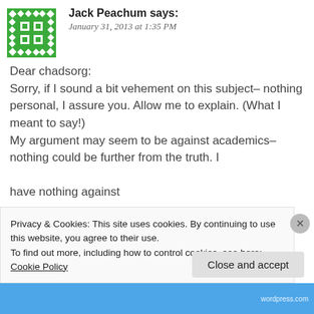[Figure (illustration): Green pixel/mosaic avatar icon for user Jack Peachum]
Jack Peachum says:
January 31, 2013 at 1:35 PM
Dear chadsorg:
Sorry, if I sound a bit vehement on this subject– nothing personal, I assure you. Allow me to explain. (What I meant to say!)
My argument may seem to be against academics– nothing could be further from the truth. I
have nothing against
Privacy & Cookies: This site uses cookies. By continuing to use this website, you agree to their use.
To find out more, including how to control cookies, see here: Cookie Policy
Close and accept